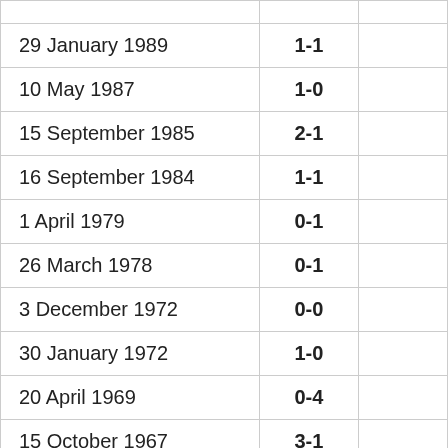| Date | Score |  |
| --- | --- | --- |
| 29 January 1989 | 1-1 |  |
| 10 May 1987 | 1-0 |  |
| 15 September 1985 | 2-1 |  |
| 16 September 1984 | 1-1 |  |
| 1 April 1979 | 0-1 |  |
| 26 March 1978 | 0-1 |  |
| 3 December 1972 | 0-0 |  |
| 30 January 1972 | 1-0 |  |
| 20 April 1969 | 0-4 |  |
| 15 October 1967 | 3-1 |  |
| 2 October 1966 | 0-5 |  |
| 6 February 1966 | 0-2 |  |
| 23 May 1965 | 1-3 |  |
| 10 January 1964 | 1-1 |  |